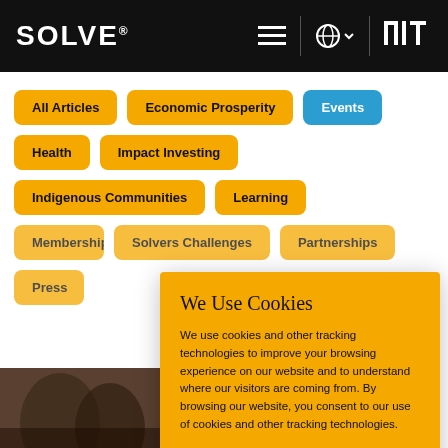SOLVE® [navigation bar with hamburger menu, globe/language selector, MIT logo]
All Articles
Economic Prosperity
Events (active)
Health
Impact Investing
Indigenous Communities
Learning
Membership
Solvers Challenges
Partnerships
Press
We Use Cookies

We use cookies and other tracking technologies to improve your browsing experience on our website and to understand where our visitors are coming from. By browsing our website, you consent to our use of cookies and other tracking technologies.
ACCEPT   REJECT